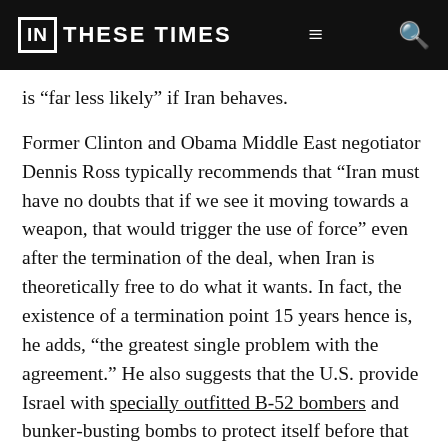IN THESE TIMES
is “far less likely” if Iran behaves.
Former Clinton and Obama Middle East negotiator Dennis Ross typically recommends that “Iran must have no doubts that if we see it moving towards a weapon, that would trigger the use of force” even after the termination of the deal, when Iran is theoretically free to do what it wants. In fact, the existence of a termination point 15 years hence is, he adds, “the greatest single problem with the agreement.” He also suggests that the U.S. provide Israel with specially outfitted B-52 bombers and bunker-busting bombs to protect itself before that terrifying date arrives.